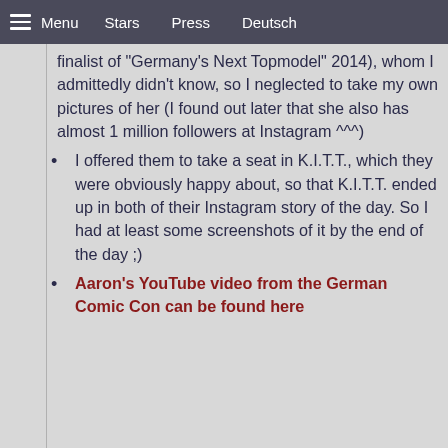Menu  Stars  Press  Deutsch
finalist of "Germany's Next Topmodel" 2014), whom I admittedly didn't know, so I neglected to take my own pictures of her (I found out later that she also has almost 1 million followers at Instagram ^^^)
I offered them to take a seat in K.I.T.T., which they were obviously happy about, so that K.I.T.T. ended up in both of their Instagram story of the day. So I had at least some screenshots of it by the end of the day ;)
Aaron's YouTube video from the German Comic Con can be found here